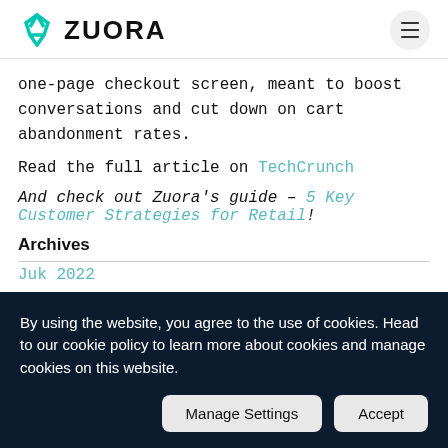ZUORA
one-page checkout screen, meant to boost conversations and cut down on cart abandonment rates.
Read the full article on TechCrunch
And check out Zuora's guide – 5 Key Customer Strategies for Retail!
Archives
By using the website, you agree to the use of cookies. Head to our cookie policy to learn more about cookies and manage cookies on this website.